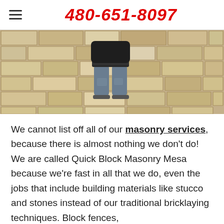480-651-8097
[Figure (photo): A person in jeans and a dark top standing in front of a stone/block masonry wall, viewed from behind. The stone wall has large rectangular beige/tan blocks.]
We cannot list off all of our masonry services, because there is almost nothing we don't do! We are called Quick Block Masonry Mesa because we're fast in all that we do, even the jobs that include building materials like stucco and stones instead of our traditional bricklaying techniques. Block fences,